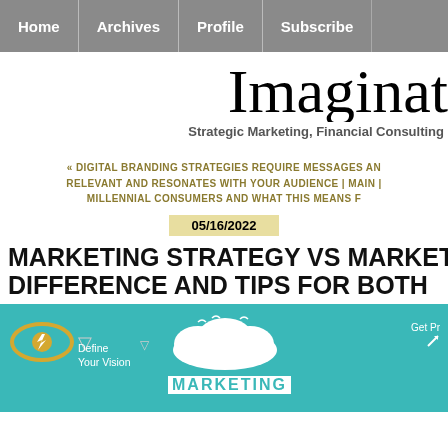Home | Archives | Profile | Subscribe
Imaginat
Strategic Marketing, Financial Consulting
« DIGITAL BRANDING STRATEGIES REQUIRE MESSAGES AN RELEVANT AND RESONATES WITH YOUR AUDIENCE | Main | MILLENNIAL CONSUMERS AND WHAT THIS MEANS F
05/16/2022
MARKETING STRATEGY VS MARKET DIFFERENCE AND TIPS FOR BOTH
[Figure (infographic): Teal/turquoise infographic showing marketing strategy concept with eye icon labeled 'Define Your Vision', arrows, a cloud shape with 'MARKETING' text below, and 'Get Pr' label on the right side.]